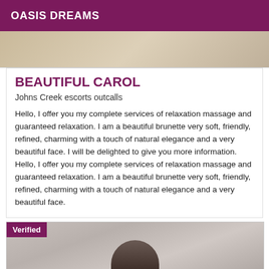OASIS DREAMS
[Figure (photo): Top portion of a photo showing a person, cropped at top of page]
BEAUTIFUL CAROL
Johns Creek escorts outcalls
Hello, I offer you my complete services of relaxation massage and guaranteed relaxation. I am a beautiful brunette very soft, friendly, refined, charming with a touch of natural elegance and a very beautiful face. I will be delighted to give you more information. Hello, I offer you my complete services of relaxation massage and guaranteed relaxation. I am a beautiful brunette very soft, friendly, refined, charming with a touch of natural elegance and a very beautiful face.
[Figure (photo): Second listing photo with 'Verified' badge overlay, showing a person in a room]